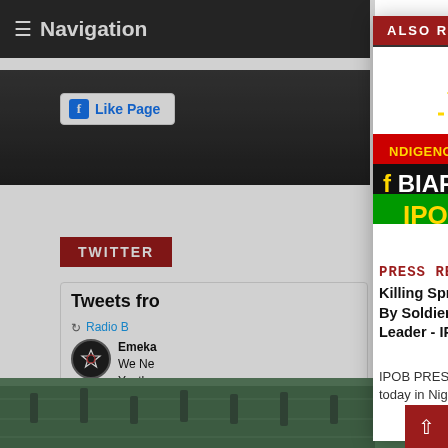≡ Navigation
[Figure (screenshot): Facebook Like Page button]
TWITTER
Tweets from
Radio B
Emeka
We Ne
Youths
120,00
#FreeB
ALSO READ
[Figure (logo): IPOB - Indigenous People of Biafra logo]
[Figure (photo): Person in red traditional attire speaking into microphone]
PRESS RELEASE
Killing Spree Perpetrated by Herdsmen Accompanied By Soldiers, Another Prophecy Fulfillment By Our Leader - IPOB
IPOB PRESS RELEASE What is unfolding before our very eyes today in Nigeria with soldiers working hand in hand with
[Figure (photo): Factory/manufacturing facility with workers at stations]